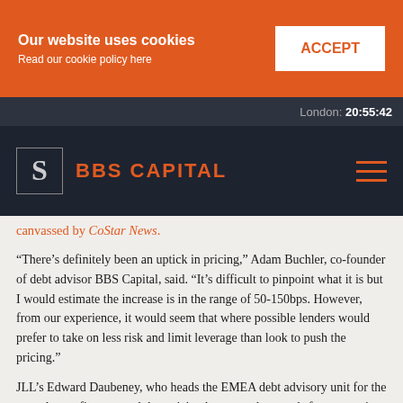[Figure (screenshot): Cookie consent banner with orange background, text 'Our website uses cookies' and 'Read our cookie policy here', and white ACCEPT button]
London: 20:55:42
[Figure (logo): BBS Capital logo with stylized S icon in square frame and orange BBS CAPITAL text, with hamburger menu icon]
canvassed by CoStar News.
“There’s definitely been an uptick in pricing,” Adam Buchler, co-founder of debt advisor BBS Capital, said. “It’s difficult to pinpoint what it is but I would estimate the increase is in the range of 50-150bps. However, from our experience, it would seem that where possible lenders would prefer to take on less risk and limit leverage than look to push the pricing.”
JLL’s Edward Daubeney, who heads the EMEA debt advisory unit for the consultancy firm, agreed that pricing has moved upwards for transactions just launching amid the crisis.
“For core assets, this is in the region of 30-60bps and for value